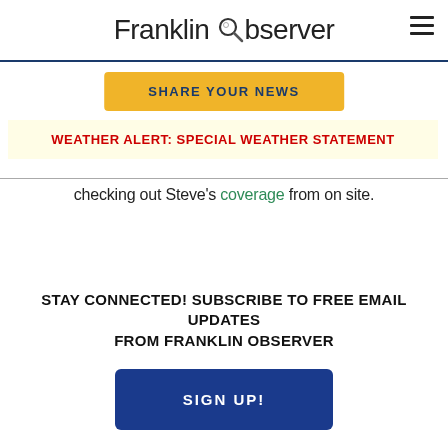Franklin Observer
SHARE YOUR NEWS
WEATHER ALERT: SPECIAL WEATHER STATEMENT
checking out Steve's coverage from on site.
STAY CONNECTED! SUBSCRIBE TO FREE EMAIL UPDATES FROM FRANKLIN OBSERVER
SIGN UP!